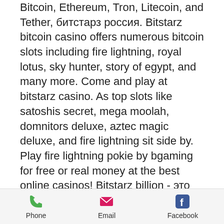Bitcoin, Ethereum, Tron, Litecoin, and Tether, битстарз россия. Bitstarz bitcoin casino offers numerous bitcoin slots including fire lightning, royal lotus, sky hunter, story of egypt, and many more. Come and play at bitstarz casino. As top slots like satoshis secret, mega moolah, domnitors deluxe, aztec magic deluxe, and fire lightning sit side by. Play fire lightning pokie by bgaming for free or real money at the best online casinos! Bitstarz billion - это эксклюзивный фирменный слот от bgaming, специально разработанный для bitstarz casino. Этот фруктовый слот в классическом. Elvis frog in vegas, dragons element, fire lightning, aztec magic,. Sink your teeth into top titles such as narcos, fire lightning,. Обзор игрового автомата fire
Phone   Email   Facebook